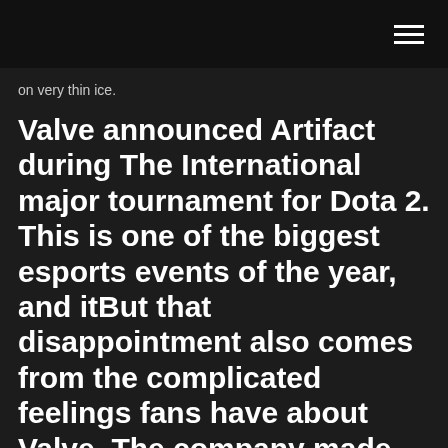on very thin ice.
Valve announced Artifact during The International major tournament for Dota 2. This is one of the biggest esports events of the year, and itBut that disappointment also comes from the complicated feelings fans have about Valve. The company made its name producing some of the most beloved...